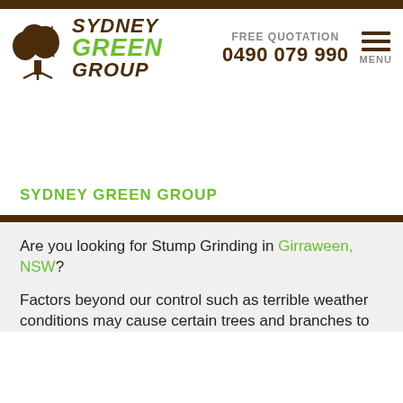[Figure (logo): Sydney Green Group logo with tree illustration and stylized text]
FREE QUOTATION
0490 079 990
[Figure (other): Hamburger menu icon with three horizontal lines and MENU label]
SYDNEY GREEN GROUP
Are you looking for Stump Grinding in Girraween, NSW?
Factors beyond our control such as terrible weather conditions may cause certain trees and branches to